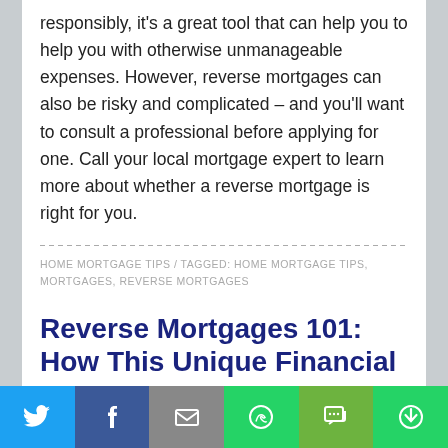responsibly, it's a great tool that can help you to help you with otherwise unmanageable expenses. However, reverse mortgages can also be risky and complicated – and you'll want to consult a professional before applying for one. Call your local mortgage expert to learn more about whether a reverse mortgage is right for you.
HOME MORTGAGE TIPS / TAGGED: HOME MORTGAGE TIPS, MORTGAGES, REVERSE MORTGAGES
Reverse Mortgages 101: How This Unique Financial